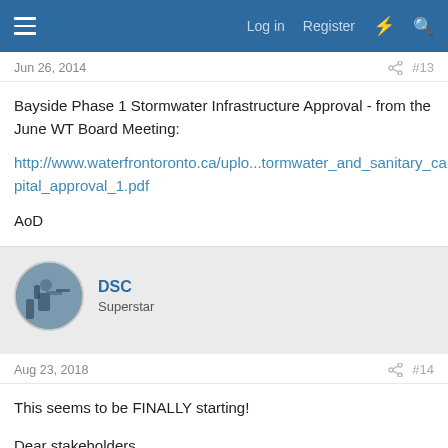Log in  Register
Jun 26, 2014  #13
Bayside Phase 1 Stormwater Infrastructure Approval - from the June WT Board Meeting:
http://www.waterfrontoronto.ca/uplo...tormwater_and_sanitary_capital_approval_1.pdf
AoD
DSC
Superstar
Aug 23, 2018  #14
This seems to be FINALLY starting!
Dear stakeholders,